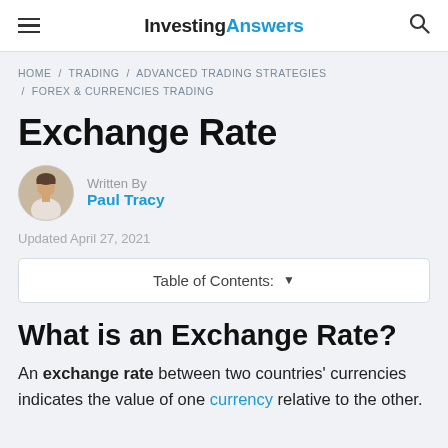InvestingAnswers
HOME / TRADING / ADVANCED TRADING STRATEGIES / FOREX & CURRENCIES TRADING
Exchange Rate
Written By
Paul Tracy
Updated April 27, 2021
Table of Contents:
What is an Exchange Rate?
An exchange rate between two countries' currencies indicates the value of one currency relative to the other.